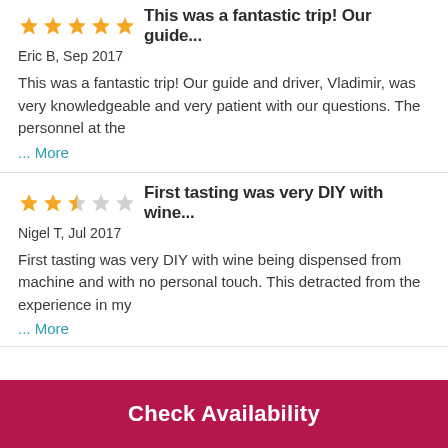[Figure (other): Five filled gold stars rating]
This was a fantastic trip! Our guide...
Eric B, Sep 2017
This was a fantastic trip! Our guide and driver, Vladimir, was very knowledgeable and very patient with our questions. The personnel at the
... More
[Figure (other): Two and a half filled gold stars out of five rating]
First tasting was very DIY with wine...
Nigel T, Jul 2017
First tasting was very DIY with wine being dispensed from machine and with no personal touch. This detracted from the experience in my
... More
Check Availability